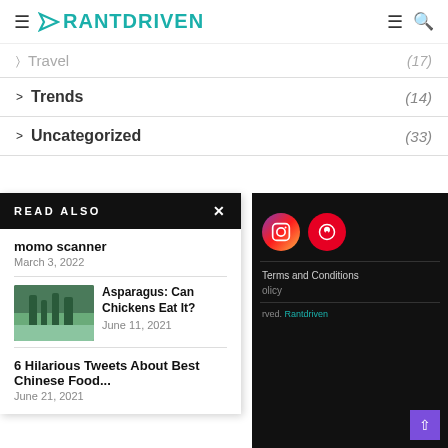RANTDRIVEN
> Travel (17)
> Trends (14)
> Uncategorized (33)
READ ALSO
momo scanner
March 3, 2022
Asparagus: Can Chickens Eat It?
June 11, 2021
6 Hilarious Tweets About Best Chinese Food...
June 21, 2021
Terms and Conditions
Policy
rved. Rantdriven